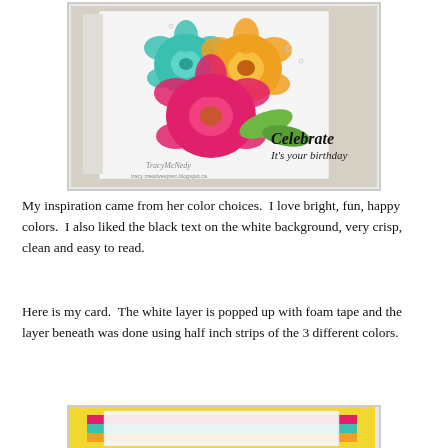[Figure (photo): A handmade birthday card featuring colorful flowers (teal, orange, pink/magenta) with leaves on a white background. Script text reads 'Celebrate It's your birthday'. Watermark reads 'TracyMcNedy' with blog URL.]
My inspiration came from her color choices.  I love bright, fun, happy colors.  I also liked the black text on the white background, very crisp, clean and easy to read.
Here is my card.  The white layer is popped up with foam tape and the layer beneath was done using half inch strips of the 3 different colors.
[Figure (photo): Bottom portion of a handmade card showing a yellow background with colorful horizontal strips and a white layer on top.]